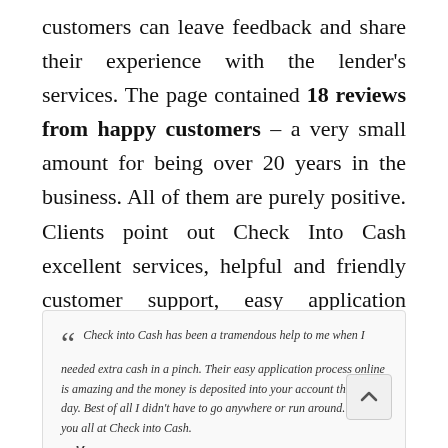customers can leave feedback and share their experience with the lender's services. The page contained 18 reviews from happy customers – a very small amount for being over 20 years in the business. All of them are purely positive. Clients point out Check Into Cash excellent services, helpful and friendly customer support, easy application process, fast funding and great rates. Here are some comments from the website:
Check into Cash has been a tramendous help to me when I needed extra cash in a pinch. Their easy application process online is amazing and the money is deposited into your account the next day. Best of all I didn't have to go anywhere or run around. Thank you all at Check into Cash.
— Myra